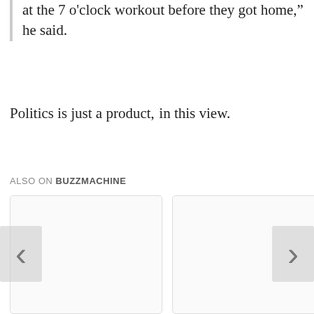at the 7 o’clock workout before they got home,” he said.
Politics is just a product, in this view.
ALSO ON BUZZMACHINE
[Figure (other): Carousel widget with left and right navigation arrows and two visible card placeholders plus a partial third card]